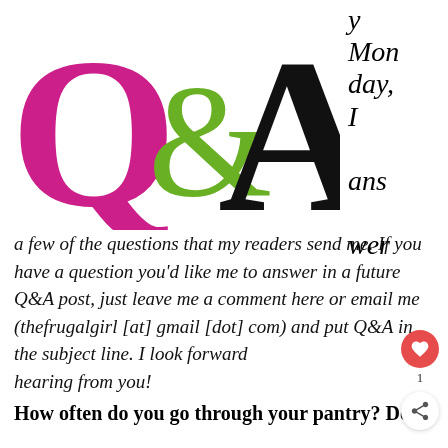[Figure (logo): Q&A logo with large magenta Q, green decorative ampersand, and large black A]
y Monday, I answer a few of the questions that my readers send me. If you have a question you'd like me to answer in a future Q&A post, just leave me a comment here or email me (thefrugalgirl [at] gmail [dot] com) and put Q&A in the subject line. I look forward to hearing from you!
How often do you go through your pantry? Do